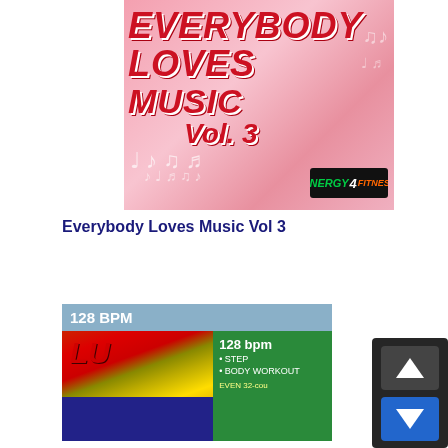[Figure (illustration): Album cover for 'Everybody Loves Music Vol 3' with pink background, red italic text, music notes, and Energy 4 Fitness logo badge]
Everybody Loves Music Vol 3
[Figure (screenshot): Blue play button bar with white play triangle icon]
[Figure (illustration): 128 BPM section with grey-blue header bar and album art showing 128 bpm, STEP, BODY WORKOUT labels on green overlay]
[Figure (screenshot): Navigation widget with up and down arrow buttons, up button dark grey, down button blue]